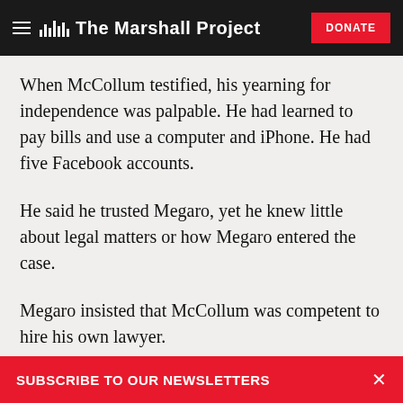The Marshall Project
When McCollum testified, his yearning for independence was palpable. He had learned to pay bills and use a computer and iPhone. He had five Facebook accounts.
He said he trusted Megaro, yet he knew little about legal matters or how Megaro entered the case.
Megaro insisted that McCollum was competent to hire his own lawyer.
SUBSCRIBE TO OUR NEWSLETTERS